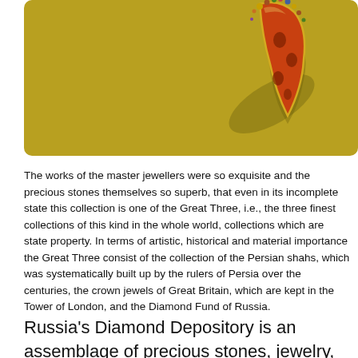[Figure (photo): A jewelled ornament or brooch—appears to be an ornate red and gold decorative piece with gemstones, photographed against a golden/olive background with its shadow visible.]
The works of the master jewellers were so exquisite and the precious stones themselves so superb, that even in its incomplete state this collection is one of the Great Three, i.e., the three finest collections of this kind in the whole world, collections which are state property. In terms of artistic, historical and material importance the Great Three consist of the collection of the Persian shahs, which was systematically built up by the rulers of Persia over the centuries, the crown jewels of Great Britain, which are kept in the Tower of London, and the Diamond Fund of Russia.
Russia's Diamond Depository is an assemblage of precious stones, jewelry, rare gold and platinum